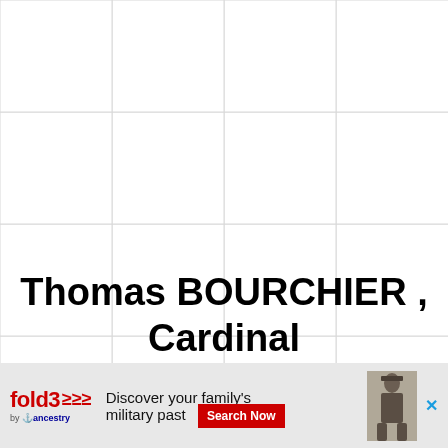[Figure (other): Grid background pattern of light gray horizontal and vertical lines forming a grid of rectangles across the page]
Thomas BOURCHIER , Cardinal
Father: William BOURCHIER , Count of Eu
Mother: (partially visible)
Birth: (partially visible)
Death: (partially visible)
[Figure (infographic): fold3 advertisement banner: 'Discover your family's military past Search Now' with fold3 by Ancestry logo and a vintage soldier photograph]